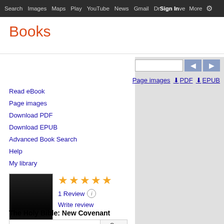Search  Images  Maps  Play  YouTube  News  Gmail  Drive  More  Sign in  ⚙
Books
Read eBook
Page images
Download PDF
Download EPUB
Advanced Book Search
Help
My library
[Figure (photo): Book cover thumbnail - dark/black cover image for The Holy Bible: New Covenant]
★★★★★ 1 Review ⓘ Write review
The Holy Bible: New Covenant